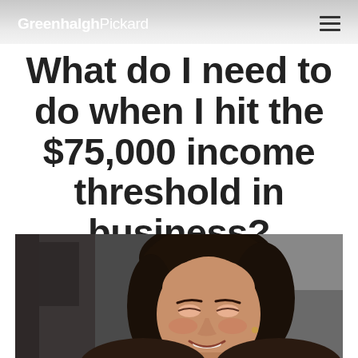GreenhalghPickard
What do I need to do when I hit the $75,000 income threshold in business?
[Figure (photo): A smiling woman with dark hair photographed outdoors near a building, looking upward slightly, portrait orientation cropped at bottom of page]